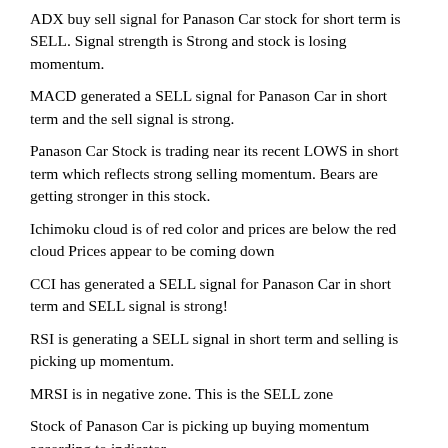ADX buy sell signal for Panason Car stock for short term is SELL. Signal strength is Strong and stock is losing momentum.
MACD generated a SELL signal for Panason Car in short term and the sell signal is strong.
Panason Car Stock is trading near its recent LOWS in short term which reflects strong selling momentum. Bears are getting stronger in this stock.
Ichimoku cloud is of red color and prices are below the red cloud Prices appear to be coming down
CCI has generated a SELL signal for Panason Car in short term and SELL signal is strong!
RSI is generating a SELL signal in short term and selling is picking up momentum.
MRSI is in negative zone. This is the SELL zone
Stock of Panason Car is picking up buying momentum according to indicator.
Volume based indicators are showing selling momentum.
Volume Weighted Averaged Price (VWAP) for short term is 416.37 and Panason Car (PanasonCar) stock is trading below